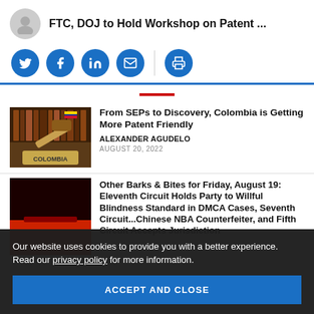FTC, DOJ to Hold Workshop on Patent ...
[Figure (infographic): Social sharing buttons: Twitter, Facebook, LinkedIn, Email, Print]
[Figure (photo): Colombia gavel photo with Colombian flag]
From SEPs to Discovery, Colombia is Getting More Patent Friendly
ALEXANDER AGUDELO
AUGUST 20, 2022
Other Barks & Bites for Friday, August 19: Eleventh Circuit Holds Party to Willful Blindness Standard in DMCA Cases, Seventh Circuit...Chinese NBA Counterfeiter, and Fifth Circuit Accepts Jurisdiction
Our website uses cookies to provide you with a better experience. Read our privacy policy for more information.
ACCEPT AND CLOSE